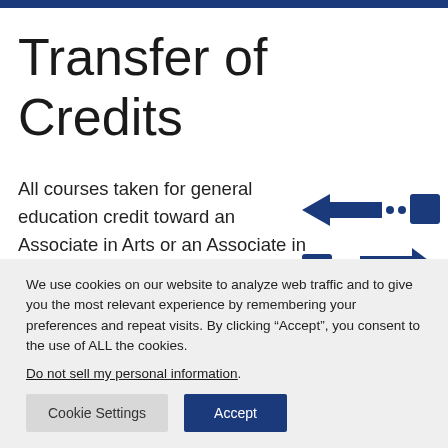Transfer of Credits
All courses taken for general education credit toward an Associate in Arts or an Associate in Science degree will transfer to Barton. At Barton, these courses are accepted for core credit even if you have not yet completed your associate's degree. The College does not
[Figure (illustration): Transfer icon showing two blue squares connected by dotted arrows pointing in opposite directions, indicating bidirectional transfer]
We use cookies on our website to analyze web traffic and to give you the most relevant experience by remembering your preferences and repeat visits. By clicking “Accept”, you consent to the use of ALL the cookies.
Do not sell my personal information.